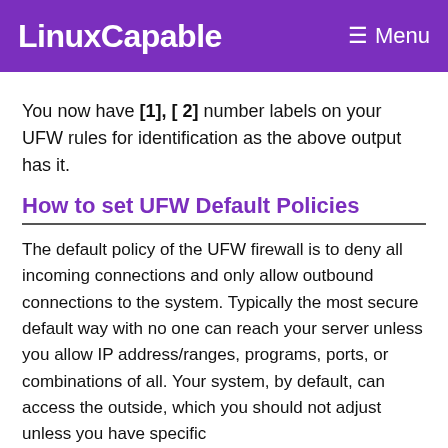LinuxCapable   ☰ Menu
You now have [1], [ 2] number labels on your UFW rules for identification as the above output has it.
How to set UFW Default Policies
The default policy of the UFW firewall is to deny all incoming connections and only allow outbound connections to the system. Typically the most secure default way with no one can reach your server unless you allow IP address/ranges, programs, ports, or combinations of all. Your system, by default, can access the outside, which you should not adjust unless you have specific secu...
[Figure (other): ChampsDiet advertisement banner with a shield/US flag logo, cursive brand name 'ChampsDiet', arrows and a 'FREE RECIPES' button, food imagery in background]
The ... in the l...